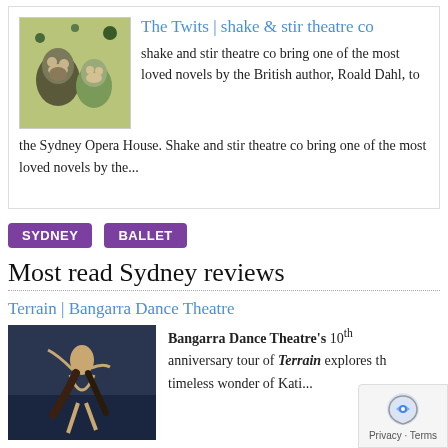The Twits | shake & stir theatre co
shake and stir theatre co bring one of the most loved novels by the British author, Roald Dahl, to the Sydney Opera House. Shake and stir theatre co bring one of the most loved novels by the...
SYDNEY
BALLET
Most read Sydney reviews
Terrain | Bangarra Dance Theatre
Bangarra Dance Theatre's 10th anniversary tour of Terrain explores the timeless wonder of Kati...